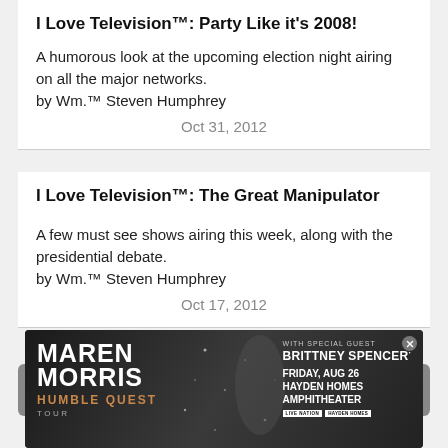I Love Television™: Party Like it's 2008!
A humorous look at the upcoming election night airing on all the major networks.
by Wm.™ Steven Humphrey
Oct 31, 2012
I Love Television™: The Great Manipulator
A few must see shows airing this week, along with the presidential debate.
by Wm.™ Steven Humphrey
Oct 17, 2012
MORE »
[Figure (photo): Advertisement banner for Maren Morris Humble Quest Tour with special guest Brittney Spencer, Friday Aug 26 at Hayden Homes Amphitheater, presented by Live Nation]